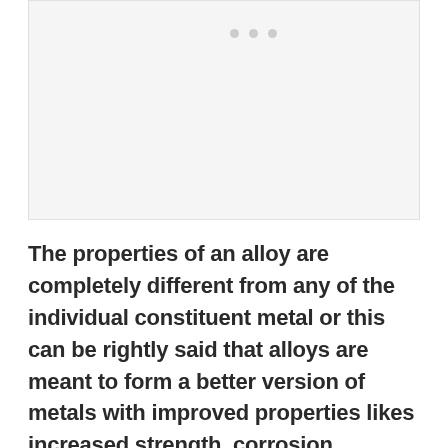[Figure (other): A placeholder image area with three gray dots at the top, representing an image or media element in a presentation or educational slide.]
The properties of an alloy are completely different from any of the individual constituent metal or this can be rightly said that alloys are meant to form a better version of metals with improved properties likes increased strength, corrosion resistance, etc.